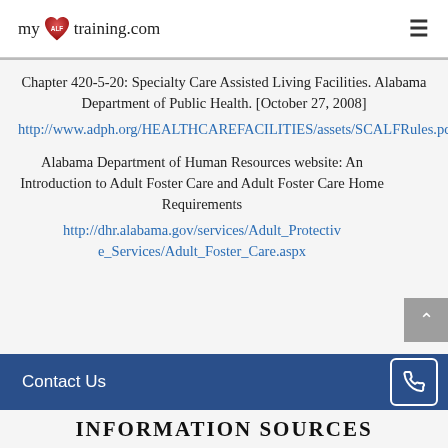[Figure (logo): myALFtraining.com logo with red heart icon, and hamburger menu icon on the right]
Chapter 420-5-20: Specialty Care Assisted Living Facilities. Alabama Department of Public Health. [October 27, 2008]
http://www.adph.org/HEALTHCAREFACILITIES/assets/SCALFRules.pdf
Alabama Department of Human Resources website: An Introduction to Adult Foster Care and Adult Foster Care Home Requirements
http://dhr.alabama.gov/services/Adult_Protective_Services/Adult_Foster_Care.aspx
Contact Us
INFORMATION SOURCES